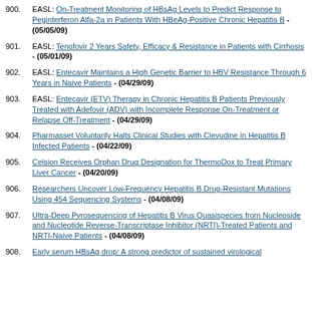900. EASL: On-Treatment Monitoring of HBsAg Levels to Predict Response to Peginterferon Alfa-2a in Patients With HBeAg-Positive Chronic Hepatitis B - (05/05/09)
901. EASL: Tenofovir 2 Years Safety, Efficacy & Resistance in Patients with Cirrhosis - (05/01/09)
902. EASL: Entecavir Maintains a High Genetic Barrier to HBV Resistance Through 6 Years in Naive Patients - (04/29/09)
903. EASL: Entecavir (ETV) Therapy in Chronic Hepatitis B Patients Previously Treated with Adefovir (ADV) with Incomplete Response On-Treatment or Relapse Off-Treatment - (04/29/09)
904. Pharmasset Voluntarily Halts Clinical Studies with Clevudine in Hepatitis B Infected Patients - (04/22/09)
905. Celsion Receives Orphan Drug Designation for ThermoDox to Treat Primary Liver Cancer - (04/20/09)
906. Researchers Uncover Low-Frequency Hepatitis B Drug-Resistant Mutations Using 454 Sequencing Systems - (04/08/09)
907. Ultra-Deep Pyrosequencing of Hepatitis B Virus Quasispecies from Nucleoside and Nucleotide Reverse-Transcriptase Inhibitor (NRTI)-Treated Patients and NRTI-Naive Patients - (04/08/09)
908. Early serum HBsAg drop: A strong predictor of sustained virological...